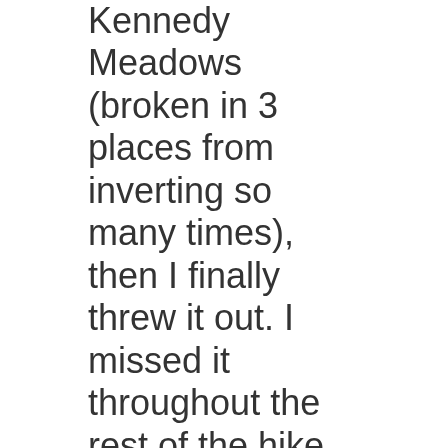Kennedy Meadows (broken in 3 places from inverting so many times), then I finally threw it out. I missed it throughout the rest of the hike but I'm glad I wasn't carrying the extra weight for the few wet days. I would take a poncho